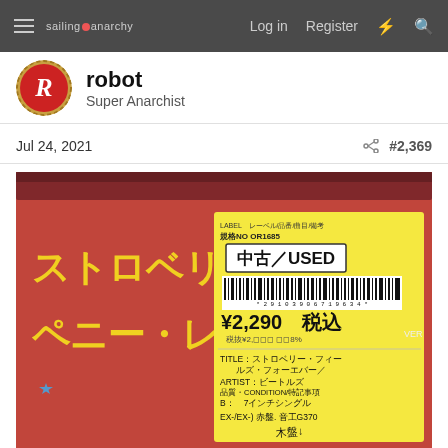sailing anarchy — Log in  Register
robot
Super Anarchist
Jul 24, 2021   #2,369
[Figure (photo): Close-up photo of a Japanese 7-inch vinyl record sleeve in plastic wrap. The sleeve is red with yellow Japanese text (ストロベリー・フィールズ・フォーエバー / ペニー・レイン). A yellow price sticker reads: 中古/USED, 規格NO OR1685, ¥2,290 税込, TITLE: ストロベリー・フィールズ・フォーエバー/, ARTIST: ビートルズ, 品質・CONDITION/特記事項 B: 7インチシングル, EX-/EX-) 赤盤. 音工G370]